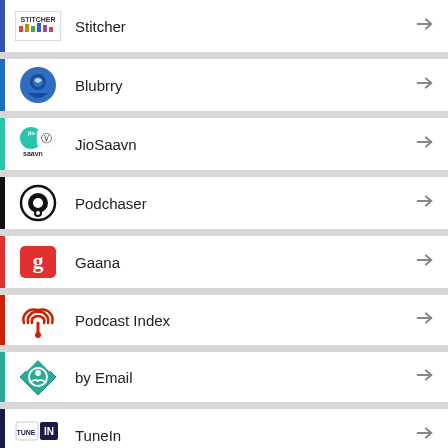Stitcher
Blubrry
JioSaavn
Podchaser
Gaana
Podcast Index
by Email
TuneIn